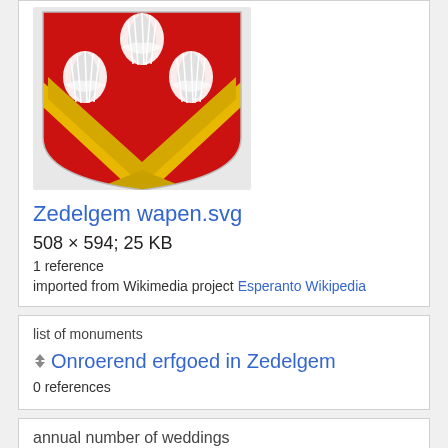[Figure (illustration): Coat of arms of Zedelgem: red shield with yellow chevron and three white scallop shells, on a gold base]
Zedelgem wapen.svg
508 × 594; 25 KB
1 reference
imported from Wikimedia project Esperanto Wikipedia
list of monuments
Onroerend erfgoed in Zedelgem
0 references
annual number of weddings